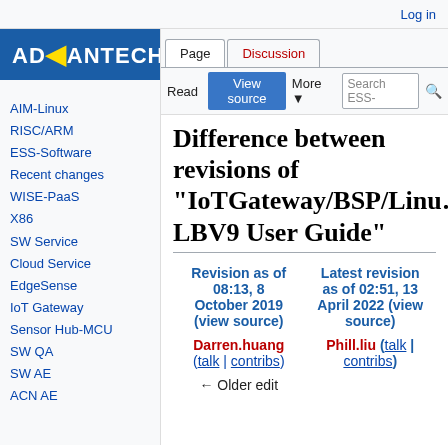Log in
[Figure (logo): Advantech logo — white text on blue background]
AIM-Linux
RISC/ARM
ESS-Software
Recent changes
WISE-PaaS
X86
SW Service
Cloud Service
EdgeSense
IoT Gateway
Sensor Hub-MCU
SW QA
SW AE
ACN AE
Difference between revisions of "IoTGateway/BSP/Linux LBV9 User Guide"
| Revision as of 08:13, 8 October 2019 (view source) | Latest revision as of 02:51, 13 April 2022 (view source) |
| --- | --- |
| Darren.huang (talk | contribs) | Phill.liu (talk | contribs) |
| ← Older edit |  |